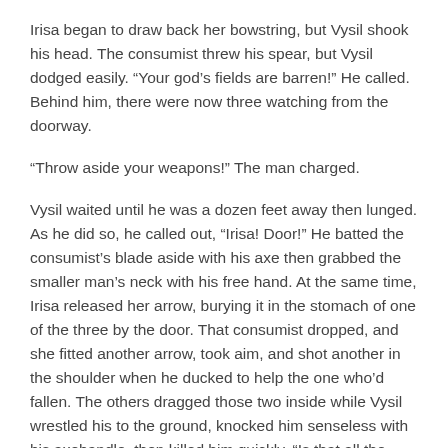Irisa began to draw back her bowstring, but Vysil shook his head. The consumist threw his spear, but Vysil dodged easily. “Your god’s fields are barren!” He called. Behind him, there were now three watching from the doorway.
“Throw aside your weapons!” The man charged.
Vysil waited until he was a dozen feet away then lunged. As he did so, he called out, “Irisa! Door!” He batted the consumist’s blade aside with his axe then grabbed the smaller man’s neck with his free hand. At the same time, Irisa released her arrow, burying it in the stomach of one of the three by the door. That consumist dropped, and she fitted another arrow, took aim, and shot another in the shoulder when he ducked to help the one who’d fallen. The others dragged those two inside while Vysil wrestled his to the ground, knocked him senseless with his axehandle, then killed him quickly. “Is that all the might the great Vallmar can throw at us? He is weaker than the Child of the Nativity!”